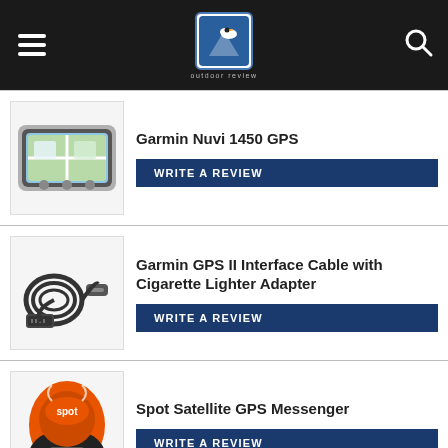outdoor review
[Figure (photo): Garmin Nuvi 1450 GPS device - a wide touchscreen GPS navigator]
Garmin Nuvi 1450 GPS
WRITE A REVIEW
[Figure (photo): Garmin GPS II Interface Cable with Cigarette Lighter Adapter - coiled black cable with connectors]
Garmin GPS II Interface Cable with Cigarette Lighter Adapter
WRITE A REVIEW
[Figure (photo): Spot Satellite GPS Messenger - orange and black handheld device]
Spot Satellite GPS Messenger
WRITE A REVIEW
[Figure (photo): Garmin Legend HCX GPS - grey handheld GPS device]
Garmin Legend HCX GPS